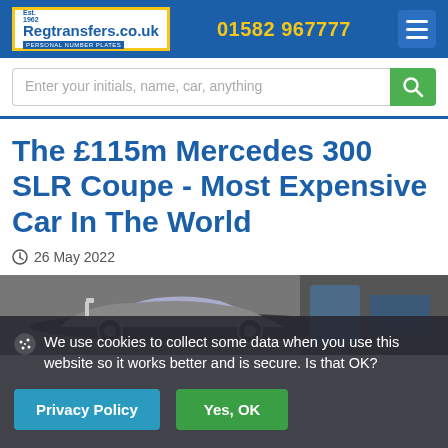Regtransfers.co.uk | PERSONAL NUMBER PLATES | 01582 967777
Enter your initials, name, car, anything
The £115m Mercedes 300 SLR Coupe - Most Expensive Car In The World
26 May 2022
[Figure (photo): Photo of a Mercedes 300 SLR Coupe classic car in a museum or garage setting]
We use cookies to collect some data when you use this website so it works better and is secure. Is that OK?
Privacy Policy
Yes, OK